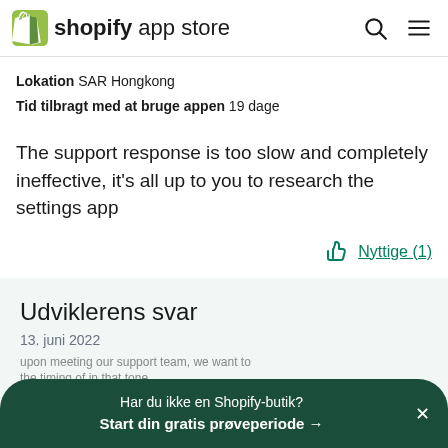[Figure (logo): Shopify App Store logo with green shopping bag icon and text 'shopify app store']
Lokation SAR Hongkong
Tid tilbragt med at bruge appen 19 dage
The support response is too slow and completely ineffective, it's all up to you to research the settings app
Nyttige (1)
Udviklerens svar
13. juni 2022
Har du ikke en Shopify-butik?
Start din gratis prøveperiode →